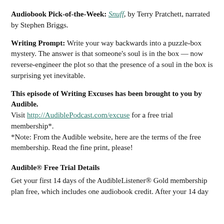Audiobook Pick-of-the-Week: Snuff, by Terry Pratchett, narrated by Stephen Briggs.
Writing Prompt: Write your way backwards into a puzzle-box mystery. The answer is that someone's soul is in the box — now reverse-engineer the plot so that the presence of a soul in the box is surprising yet inevitable.
This episode of Writing Excuses has been brought to you by Audible.
Visit http://AudiblePodcast.com/excuse for a free trial membership*.
*Note: From the Audible website, here are the terms of the free membership. Read the fine print, please!
Audible® Free Trial Details
Get your first 14 days of the AudibleListener® Gold membership plan free, which includes one audiobook credit. After your 14 day